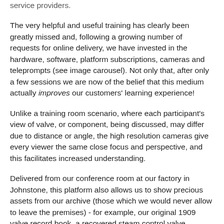service providers.
The very helpful and useful training has clearly been greatly missed and, following a growing number of requests for online delivery, we have invested in the hardware, software, platform subscriptions, cameras and teleprompts (see image carousel). Not only that, after only a few sessions we are now of the belief that this medium actually improves our customers' learning experience!
Unlike a training room scenario, where each participant's view of valve, or component, being discussed, may differ due to distance or angle, the high resolution cameras give every viewer the same close focus and perspective, and this facilitates increased understanding.
Delivered from our conference room at our factory in Johnstone, this platform also allows us to show precious assets from our archive (those which we would never allow to leave the premises) - for example, our original 1909 valve record book, a recovered steam control valve manufactured in 1929, a selection of archived technical documents and so forth.
Our future plans include developing the content...